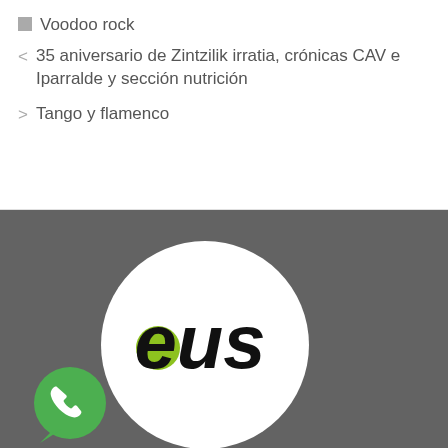Voodoo rock
35 aniversario de Zintzilik irratia, crónicas CAV e Iparralde y sección nutrición
Tango y flamenco
[Figure (logo): .eus domain logo — white circle with green dot and bold 'eus' text on dark grey background, with WhatsApp icon in lower left]